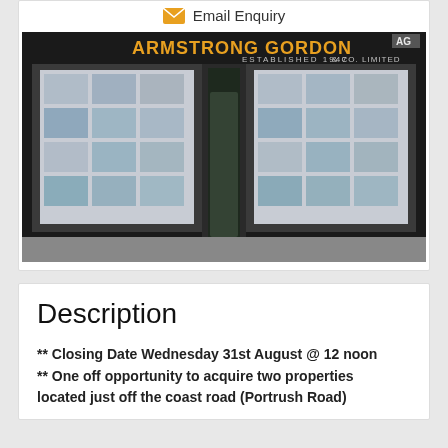Email Enquiry
[Figure (photo): Storefront of Armstrong Gordon & Co. Limited estate agents, established 1947, showing large window displays with property listings]
Description
** Closing Date Wednesday 31st August @ 12 noon ** One off opportunity to acquire two properties located just off the coast road (Portrush Road)